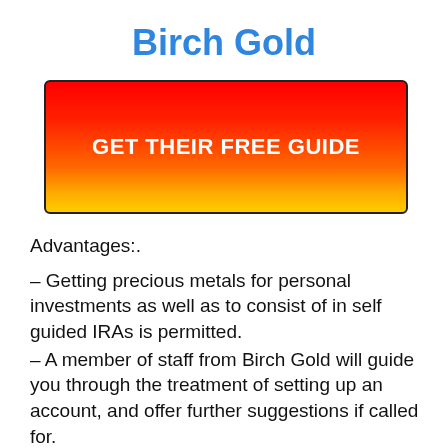Birch Gold
[Figure (other): Red to yellow/orange gradient button with text 'GET THEIR FREE GUIDE' in bold white letters, with black border and rounded corners.]
Advantages:.
– Getting precious metals for personal investments as well as to consist of in self guided IRAs is permitted.
– A member of staff from Birch Gold will guide you through the treatment of setting up an account, and offer further suggestions if called for.
– The BBB awarded the Birch Gold Group an